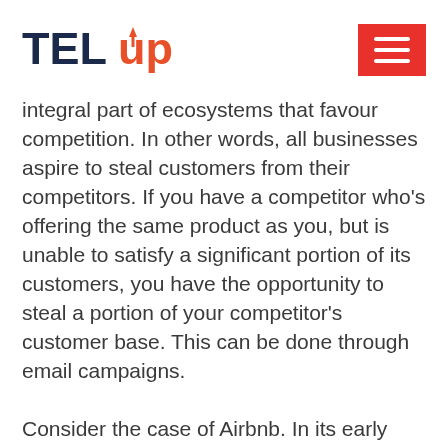[Figure (logo): TELup logo — TEL in dark navy bold, up in orange/red with an upward arrow replacing the letter u]
integral part of ecosystems that favour competition. In other words, all businesses aspire to steal customers from their competitors. If you have a competitor who’s offering the same product as you, but is unable to satisfy a significant portion of its customers, you have the opportunity to steal a portion of your competitor’s customer base. This can be done through email campaigns.

Consider the case of Airbnb. In its early days, the hospitality giant reached out to competitors’